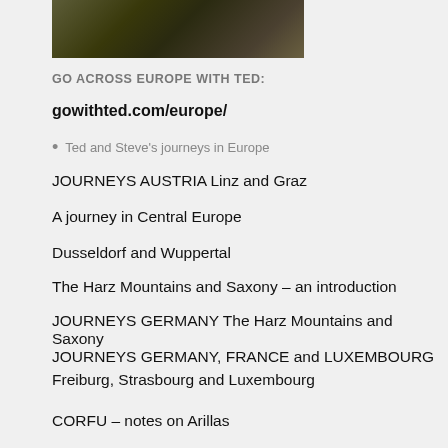[Figure (photo): Partial photo of an animal (possibly a bird or small creature) on a dark background, cropped at top]
GO ACROSS EUROPE WITH TED:
gowithted.com/europe/
Ted and Steve's journeys in Europe
JOURNEYS AUSTRIA Linz and Graz
A journey in Central Europe
Dusseldorf and Wuppertal
The Harz Mountains and Saxony – an introduction
JOURNEYS GERMANY The Harz Mountains and Saxony
JOURNEYS GERMANY, FRANCE and LUXEMBOURG Freiburg, Strasbourg and Luxembourg
CORFU – notes on Arillas